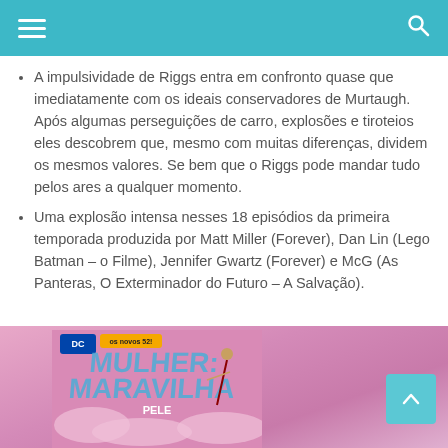Navigation header with hamburger menu and search icon
A impulsividade de Riggs entra em confronto quase que imediatamente com os ideais conservadores de Murtaugh. Após algumas perseguições de carro, explosões e tiroteios eles descobrem que, mesmo com muitas diferenças, dividem os mesmos valores. Se bem que o Riggs pode mandar tudo pelos ares a qualquer momento.
Uma explosão intensa nesses 18 episódios da primeira temporada produzida por Matt Miller (Forever), Dan Lin (Lego Batman – o Filme), Jennifer Gwartz (Forever) e McG (As Panteras, O Exterminador do Futuro – A Salvação).
[Figure (photo): Book cover: DC Os Novos 52! Mulher Maravilha - Pele, pink/purple background with Wonder Woman character]